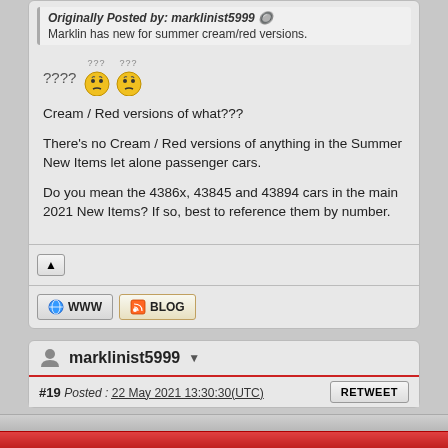Originally Posted by: marklinist5999
Marklin has new for summer cream/red versions.
???? [confused emoji x2]
Cream / Red versions of what???
There's no Cream / Red versions of anything in the Summer New Items let alone passenger cars.
Do you mean the 4386x, 43845 and 43894 cars in the main 2021 New Items? If so, best to reference them by number.
marklinist5999
#19  Posted : 22 May 2021 13:30:30(UTC)  RETWEET